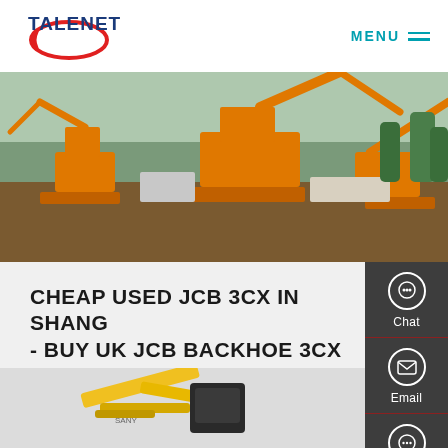TALENET | MENU
[Figure (photo): Construction site with multiple orange excavators/backhoe loaders working on a large earthmoving project, city skyline in background]
CHEAP USED JCB 3CX IN SHANGHAI - BUY UK JCB BACKHOE 3CX
[Figure (photo): Yellow JCB backhoe loader machine partial view showing boom arm and cab structure]
[Figure (illustration): Sidebar with Chat, Email, and Contact icons]